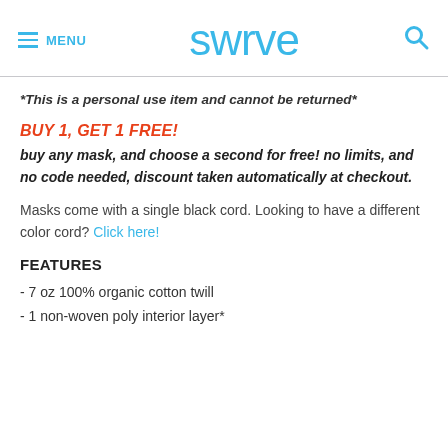MENU | swrve | [search]
*This is a personal use item and cannot be returned*
BUY 1, GET 1 FREE!
buy any mask, and choose a second for free! no limits, and no code needed, discount taken automatically at checkout.
Masks come with a single black cord. Looking to have a different color cord? Click here!
FEATURES
- 7 oz 100% organic cotton twill
- 1 non-woven poly interior layer*